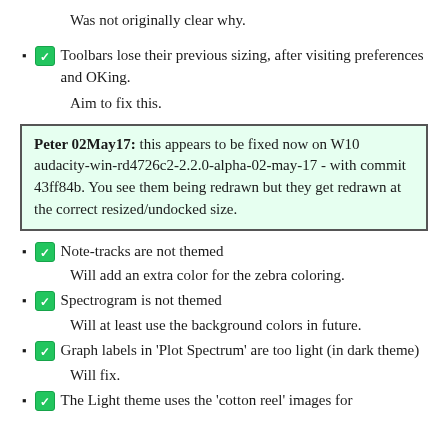Was not originally clear why.
✅ Toolbars lose their previous sizing, after visiting preferences and OKing.
Aim to fix this.
Peter 02May17: this appears to be fixed now on W10 audacity-win-rd4726c2-2.2.0-alpha-02-may-17 - with commit 43ff84b. You see them being redrawn but they get redrawn at the correct resized/undocked size.
✅ Note-tracks are not themed
Will add an extra color for the zebra coloring.
✅ Spectrogram is not themed
Will at least use the background colors in future.
✅ Graph labels in 'Plot Spectrum' are too light (in dark theme)
Will fix.
✅ The Light theme uses the 'cotton reel' images for